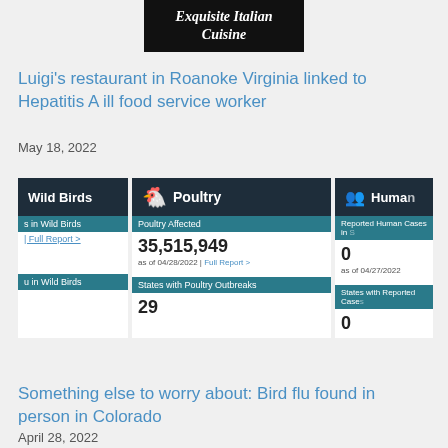[Figure (logo): Black box with white bold italic text reading 'Exquisite Italian Cuisine']
Luigi’s restaurant in Roanoke Virginia linked to Hepatitis A ill food service worker
May 18, 2022
[Figure (infographic): Dashboard with three columns: Wild Birds (partially visible left), Poultry (center) showing Poultry Affected 35,515,949 as of 04/28/2022 Full Report and States with Poultry Outbreaks 29, and Human (partially visible right) showing Reported Human Cases 0 as of 04/27/2022 and States with Reported Cases 0]
Something else to worry about: Bird flu found in person in Colorado
April 28, 2022